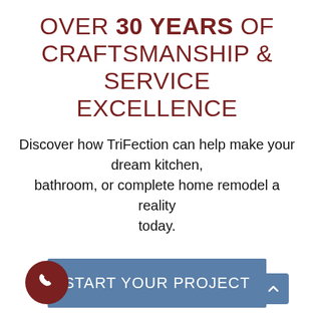OVER 30 YEARS OF CRAFTSMANSHIP & SERVICE EXCELLENCE
Discover how TriFection can help make your dream kitchen, bathroom, or complete home remodel a reality today.
START YOUR PROJECT
VIEW TESTIMONIALS